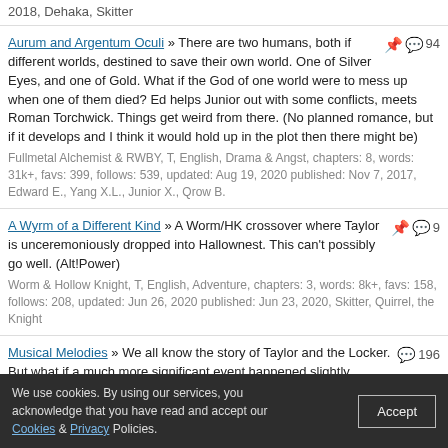2018, Dehaka, Skitter
Aurum and Argentum Oculi » There are two humans, both if different worlds, destined to save their own world. One of Silver Eyes, and one of Gold. What if the God of one world were to mess up when one of them died? Ed helps Junior out with some conflicts, meets Roman Torchwick. Things get weird from there. (No planned romance, but if it develops and I think it would hold up in the plot then there might be)
Fullmetal Alchemist & RWBY, T, English, Drama & Angst, chapters: 8, words: 31k+, favs: 399, follows: 539, updated: Aug 19, 2020 published: Nov 7, 2017, Edward E., Yang X.L., Junior X., Qrow B.
A Wyrm of a Different Kind » A Worm/HK crossover where Taylor is unceremoniously dropped into Hallownest. This can't possibly go well. (Alt!Power)
Worm & Hollow Knight, T, English, Adventure, chapters: 3, words: 8k+, favs: 158, follows: 208, updated: Jun 26, 2020 published: Jun 23, 2020, Skitter, Quirrel, the Knight
Musical Melodies » We all know the story of Taylor and the Locker. But what if a much more significant event happened slightly differently? Things are going to get jazzy. (Flute is Trigger/Musical!Taylor, based off of Cacophony from Space Battles.) No Longer on Hiatus, though updates take a while because I have other personal projects and other story ideas.
Worm, T, English, Angst & Drama, chapters: 9, words: 45k+, favs: 814, follows: 1k+, updated: May 18, 2020 published: Mar 7, 2018, Skitter,
We use cookies. By using our services, you acknowledge that you have read and accept our Cookies & Privacy Policies.